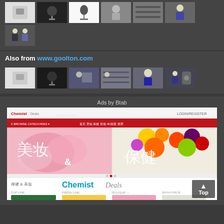Also from www.goolton.com
[Figure (photo): Grid of product and factory thumbnails from goolton.com - showing a white device, camera/mic accessories, and workers in factory settings]
Ads by Btab
[Figure (screenshot): Screenshot of Chemist Deals website showing Chinese text 美妆 & 保健 (Beauty & Health) with flowers and fruits imagery, and product listings below with Chemist Deals logo]